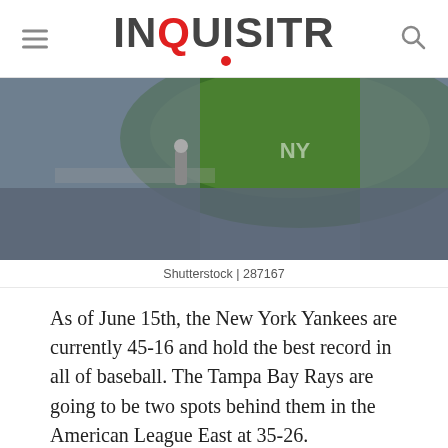INQUISITR
[Figure (photo): Aerial view of a baseball stadium (Yankee Stadium) with crowds filling the stands, showing the field with a NY Yankees logo on the grass]
Shutterstock | 287167
As of June 15th, the New York Yankees are currently 45-16 and hold the best record in all of baseball. The Tampa Bay Rays are going to be two spots behind them in the American League East at 35-26.
Tampa Bay is going to be coming into this one 10 games behind the first-place Yankees.